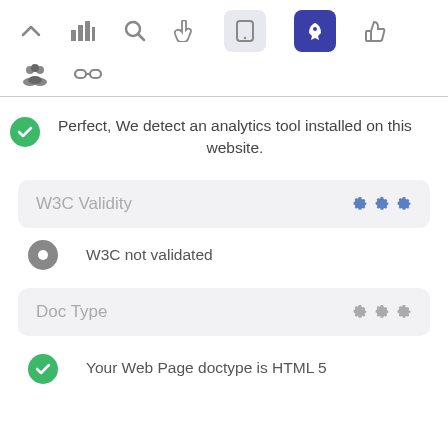[Figure (screenshot): Toolbar row with icons: chevron up, bar chart, search, hand pointer, mobile (highlighted light), rocket (highlighted dark blue), thumbs up]
[Figure (screenshot): Second toolbar row with icons: group of people, chain links]
Perfect, We detect an analytics tool installed on this website.
W3C Validity
W3C not validated
Doc Type
Your Web Page doctype is HTML 5